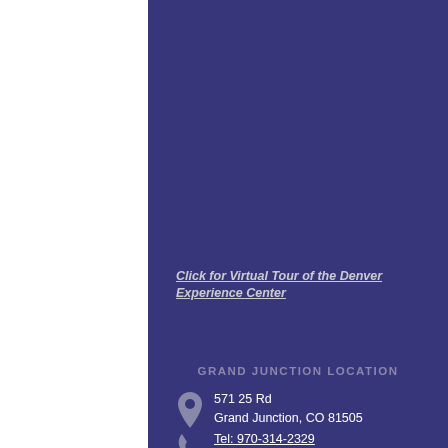Click for Virtual Tour of the Denver Experience Center
GRAND JUNCTION LOCATION
571 25 Rd
Grand Junction, CO 81505
Tel: 970-314-2329
Fax: 970-314-2619